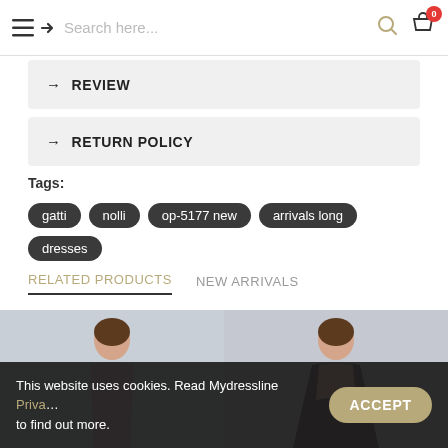Search here...
→ REVIEW
→ RETURN POLICY
Tags: gatti  nolli  op-5177 new  arrivals long  dresses
RELATED PRODUCTS  NEW ARRIVALS
[Figure (photo): Two fashion product photos showing female models wearing dresses]
This website uses cookies. Read Mydressline Privacy Policy to find out more.